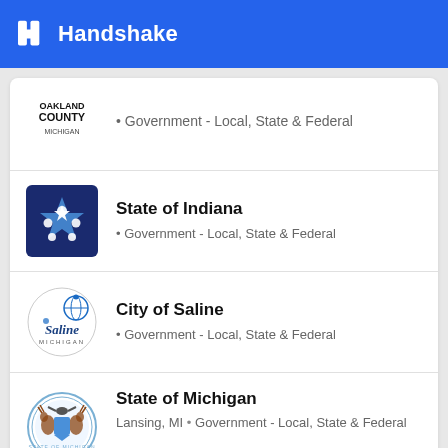Handshake
Oakland County Michigan • Government - Local, State & Federal
State of Indiana • Government - Local, State & Federal
City of Saline • Government - Local, State & Federal
State of Michigan • Lansing, MI • Government - Local, State & Federal